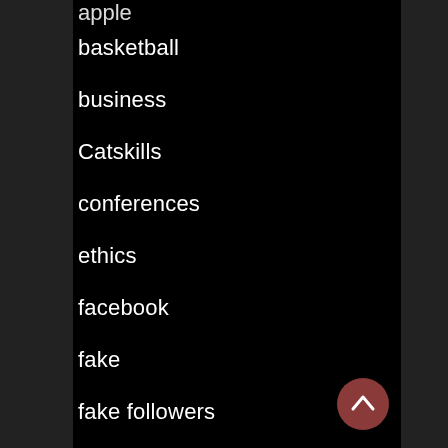apple
basketball
business
Catskills
conferences
ethics
facebook
fake
fake followers
flashback
followers
foursquare